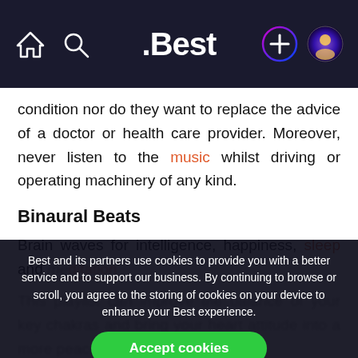.Best — navigation bar with home, search, logo, add (+), and profile icons
condition nor do they want to replace the advice of a doctor or health care provider. Moreover, never listen to the music whilst driving or operating machinery of any kind.
Binaural Beats
Brain waves for intelligence, happiness, sleep and meditation...
Best and its partners use cookies to provide you with a better service and to support our business. By continuing to browse or scroll, you agree to the storing of cookies on your device to enhance your Best experience.
Accept cookies
Only essentials
Learn more about our privacy policy.